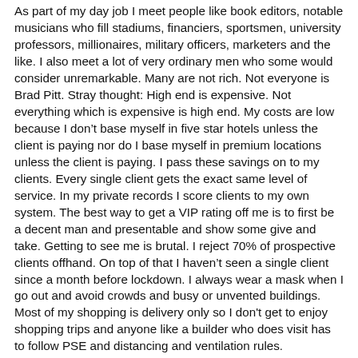As part of my day job I meet people like book editors, notable musicians who fill stadiums, financiers, sportsmen, university professors, millionaires, military officers, marketers and the like. I also meet a lot of very ordinary men who some would consider unremarkable. Many are not rich. Not everyone is Brad Pitt. Stray thought: High end is expensive. Not everything which is expensive is high end. My costs are low because I don't base myself in five star hotels unless the client is paying nor do I base myself in premium locations unless the client is paying. I pass these savings on to my clients. Every single client gets the exact same level of service. In my private records I score clients to my own system. The best way to get a VIP rating off me is to first be a decent man and presentable and show some give and take. Getting to see me is brutal. I reject 70% of prospective clients offhand. On top of that I haven't seen a single client since a month before lockdown. I always wear a mask when I go out and avoid crowds and busy or unvented buildings. Most of my shopping is delivery only so I don't get to enjoy shopping trips and anyone like a builder who does visit has to follow PSE and distancing and ventilation rules.
So no I don't I don't give a rats ass about drive-bys.